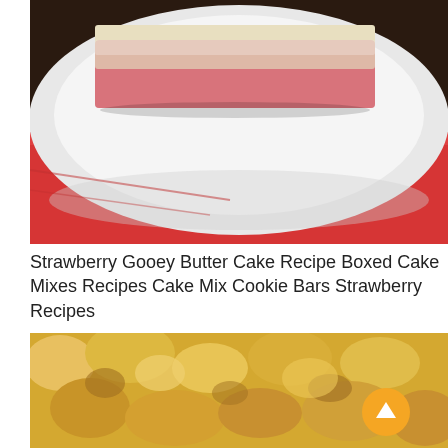[Figure (photo): Close-up photo of a strawberry gooey butter cake bar on a white plate over a red napkin. The bar has a pink cake base and a cream/white top layer.]
Strawberry Gooey Butter Cake Recipe Boxed Cake Mixes Recipes Cake Mix Cookie Bars Strawberry Recipes
[Figure (photo): Close-up photo of a golden-brown gooey butter cake, showing a bubbled, caramelized top texture with golden and amber tones.]